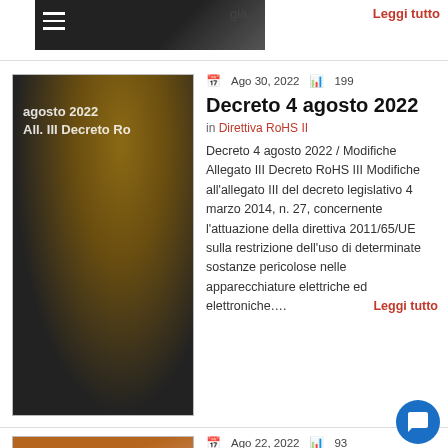[Figure (screenshot): Top navigation bar with hamburger menu icon and partially visible article image]
già…   Leggi tutto
[Figure (photo): Close-up photo of soldering iron on PCB circuit board with text overlay: agosto 2022 / All. III Decreto Ro]
Ago 30, 2022   199
Decreto 4 agosto 2022
in Direttiva RoHS II
Decreto 4 agosto 2022 / Modifiche Allegato III Decreto RoHS III Modifiche all'allegato III del decreto legislativo 4 marzo 2014, n. 27, concernente l'attuazione della direttiva 2011/65/UE sulla restrizione dell'uso di determinate sostanze pericolose nelle apparecchiature elettriche ed elettroniche….   Leggi tutto
[Figure (photo): Close-up photo of layered materials (brownish/terracotta tones)]
Ago 22, 2022   93
Directive 2014/32/EU: Harmonised standards published